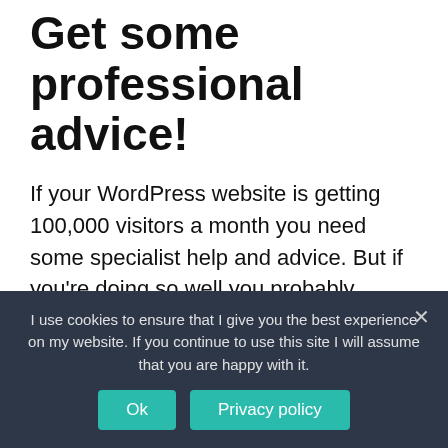Get some professional advice!
If your WordPress website is getting 100,000 visitors a month you need some specialist help and advice. But if you're doing so well you probably already know that 🙂
WordPress web hosting is a complicated subject and using one of the hosts linked to above is a good idea if you are starting out.
I use cookies to ensure that I give you the best experience on my website. If you continue to use this site I will assume that you are happy with it.